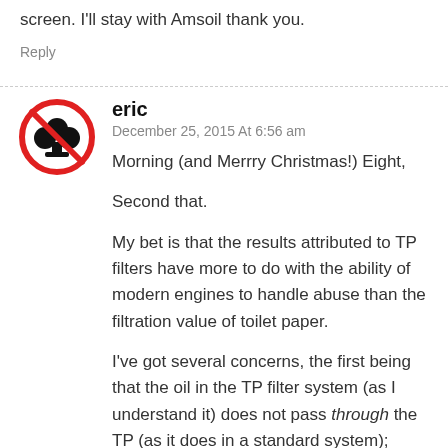screen. I'll stay with Amsoil thank you.
Reply
[Figure (illustration): Avatar icon: red circle with diagonal slash over a black club symbol (no-clubs sign)]
eric
December 25, 2015 At 6:56 am
Morning (and Merrry Christmas!) Eight,

Second that.

My bet is that the results attributed to TP filters have more to do with the ability of modern engines to handle abuse than the filtration value of toilet paper.

I've got several concerns, the first being that the oil in the TP filter system (as I understand it) does not pass through the TP (as it does in a standard system); rather, the TP just kind of sops up oil.